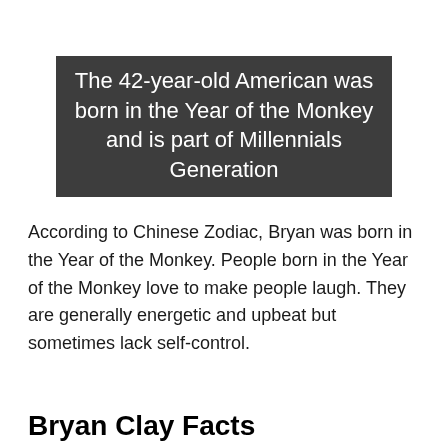The 42-year-old American was born in the Year of the Monkey and is part of Millennials Generation
According to Chinese Zodiac, Bryan was born in the Year of the Monkey. People born in the Year of the Monkey love to make people laugh. They are generally energetic and upbeat but sometimes lack self-control.
Bryan Clay Facts
What is Bryan Clay's Zodiac Sign?